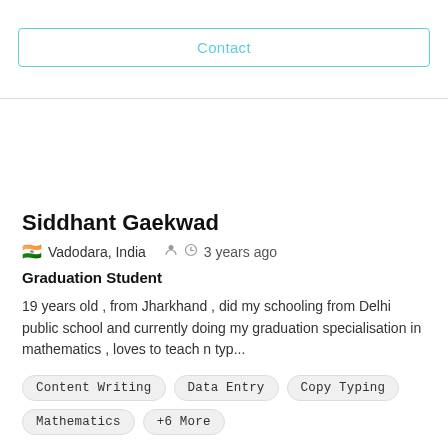Contact
Siddhant Gaekwad
🇮🇳 Vadodara, India   👤   🕐 3 years ago
Graduation Student
19 years old , from Jharkhand , did my schooling from Delhi public school and currently doing my graduation specialisation in mathematics , loves to teach n typ...
Content Writing
Data Entry
Copy Typing
Mathematics
+6 More
$ 3/hr